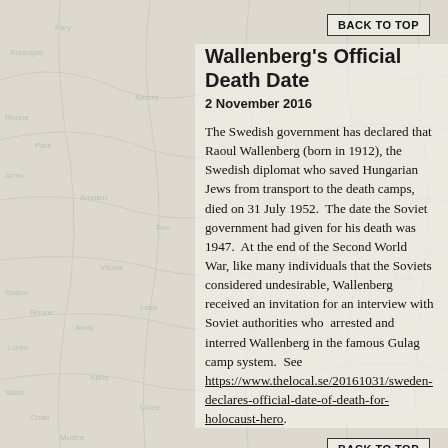BACK TO TOP
Wallenberg's Official Death Date
2 November 2016
The Swedish government has declared that Raoul Wallenberg (born in 1912), the Swedish diplomat who saved Hungarian Jews from transport to the death camps, died on 31 July 1952.  The date the Soviet government had given for his death was 1947.  At the end of the Second World War, like many individuals that the Soviets considered undesirable, Wallenberg received an invitation for an interview with Soviet authorities who  arrested and interred Wallenberg in the famous Gulag camp system.  See https://www.thelocal.se/20161031/sweden-declares-official-date-of-death-for-holocaust-hero.
BACK TO TOP
NATO Strengthening Its Forces
27 October 2016